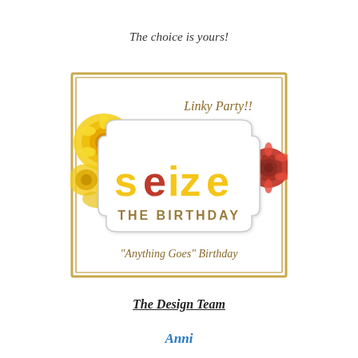The choice is yours!
[Figure (logo): Seize the Birthday Linky Party badge. Gold and red roses decorate a bordered square frame. A decorative white plaque reads 'seize' in large letters (yellow and red) and 'THE BIRTHDAY' below. Script text reads 'Linky Party!!' at top and '"Anything Goes" Birthday' at bottom.]
The Design Team
Anni